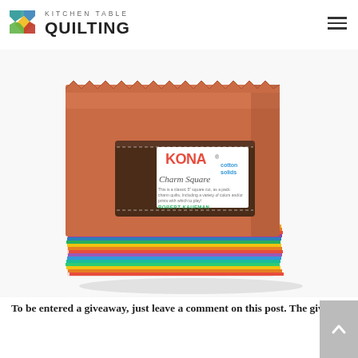seen them in person, they are amazing. I never thought about solids as much as I like Pomegranate, but I think Sangria might be just a little bit better.
Kitchen Table Quilting
[Figure (photo): Kona Cotton Solids Charm Square pack, showing stacked fabric squares with colorful pinking-shear edges, wrapped with a brown band labeled KONA Charm Square cotton solids by Robert Kaufman]
To be entered a giveaway, just leave a comment on this post.  The giveaway is open to international readers.  The giveaway is open until Tuesday November 18th at